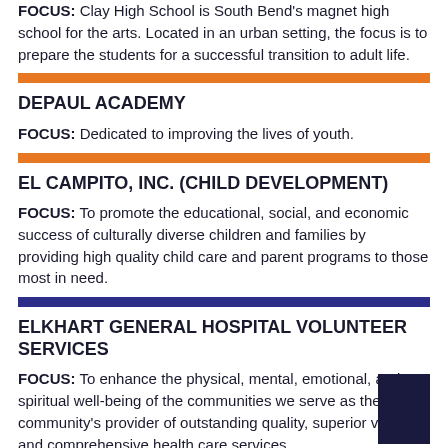FOCUS: Clay High School is South Bend's magnet high school for the arts. Located in an urban setting, the focus is to prepare the students for a successful transition to adult life.
DEPAUL ACADEMY
FOCUS: Dedicated to improving the lives of youth.
EL CAMPITO, INC. (CHILD DEVELOPMENT)
FOCUS: To promote the educational, social, and economic success of culturally diverse children and families by providing high quality child care and parent programs to those most in need.
ELKHART GENERAL HOSPITAL VOLUNTEER SERVICES
FOCUS: To enhance the physical, mental, emotional, and spiritual well-being of the communities we serve as the community's provider of outstanding quality, superior value, and comprehensive health care services
ENFOCUS